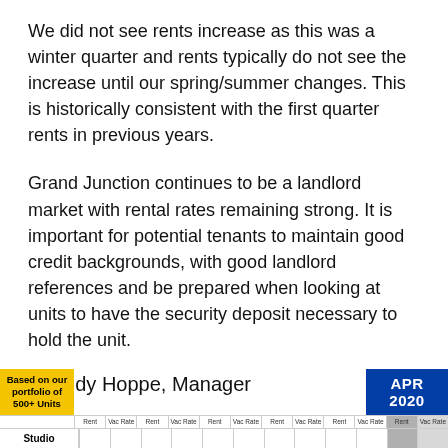We did not see rents increase as this was a winter quarter and rents typically do not see the increase until our spring/summer changes.  This is historically consistent with the first quarter rents in previous years.
Grand Junction continues to be a landlord market with rental rates remaining strong.  It is important for potential tenants to maintain good credit backgrounds, with good landlord references and be prepared when looking at units to have the security deposit necessary to hold the unit.
~ Cindy Hoppe, Manager
| Based on our portfolio of 500+ Units | Rent | Vac Rate | Rent | Vac Rate | Rent | Vac Rate | Rent | Vac Rate | Rent | Vac Rate | APR 2020 Rent | APR 2020 Vac Rate |
| --- | --- | --- | --- | --- | --- | --- | --- | --- | --- | --- | --- | --- |
| Studio |  |  |  |  |  |  |  |  |  |  |  |  |